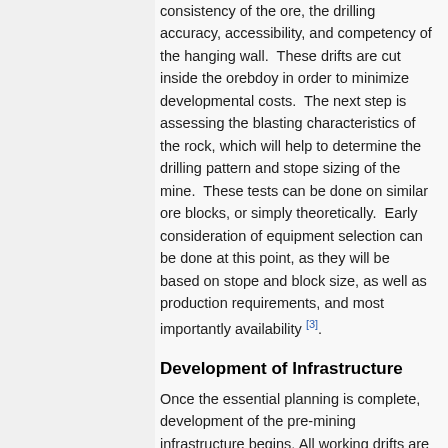consistency of the ore, the drilling accuracy, accessibility, and competency of the hanging wall. These drifts are cut inside the orebdoy in order to minimize developmental costs. The next step is assessing the blasting characteristics of the rock, which will help to determine the drilling pattern and stope sizing of the mine. These tests can be done on similar ore blocks, or simply theoretically. Early consideration of equipment selection can be done at this point, as they will be based on stope and block size, as well as production requirements, and most importantly availability [3].
Development of Infrastructure
Once the essential planning is complete, development of the pre-mining infrastructure begins. All working drifts are reinforced with the necessary ground support. The pre-mining development for VCR mining includes:
Haulage drift along the orebody, at the drawpoint level